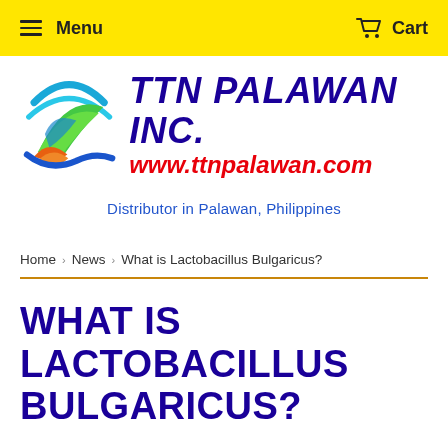Menu   Cart
[Figure (logo): TTN Palawan Inc. logo with globe graphic, blue italic text 'TTN PALAWAN INC.' and red italic text 'www.ttnpalawan.com']
Distributor in Palawan, Philippines
Home › News › What is Lactobacillus Bulgaricus?
WHAT IS LACTOBACILLUS BULGARICUS?